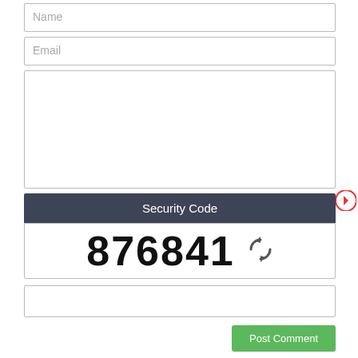[Figure (screenshot): Web comment form with Name field, Email field, comment textarea, Security Code CAPTCHA showing '876841' with refresh icon, security code entry field, and Post Comment button]
Name
Email
Security Code
876841
Post Comment